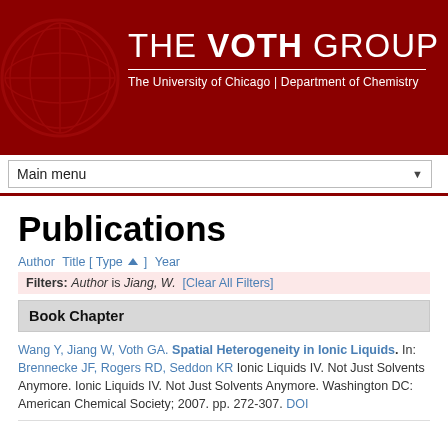[Figure (logo): The Voth Group header with University of Chicago Department of Chemistry branding on dark red background with watermark logo]
THE VOTH GROUP
The University of Chicago | Department of Chemistry
Main menu
Publications
Author Title [ Type ▲ ] Year
Filters: Author is Jiang, W. [Clear All Filters]
Book Chapter
Wang Y, Jiang W, Voth GA. Spatial Heterogeneity in Ionic Liquids. In: Brennecke JF, Rogers RD, Seddon KR Ionic Liquids IV. Not Just Solvents Anymore. Ionic Liquids IV. Not Just Solvents Anymore. Washington DC: American Chemical Society; 2007. pp. 272-307. DOI